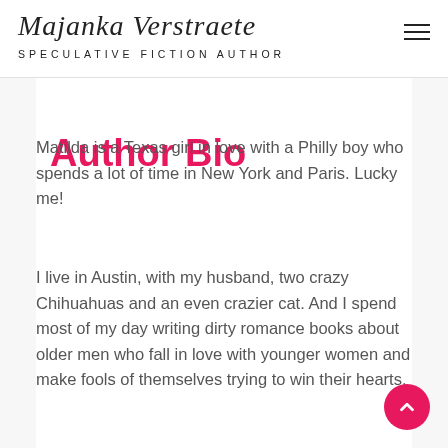Majanka Verstraete
SPECULATIVE FICTION AUTHOR
Author Bio
Matilda is a Texas girl in love with a Philly boy who spends a lot of time in New York and Paris. Lucky me!
I live in Austin, with my husband, two crazy Chihuahuas and an even crazier cat. And I spend most of my day writing dirty romance books about older men who fall in love with younger women and make fools of themselves trying to win their hearts.